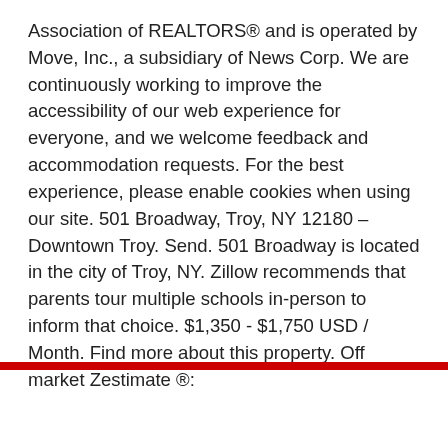Association of REALTORS® and is operated by Move, Inc., a subsidiary of News Corp. We are continuously working to improve the accessibility of our web experience for everyone, and we welcome feedback and accommodation requests. For the best experience, please enable cookies when using our site. 501 Broadway, Troy, NY 12180 – Downtown Troy. Send. 501 Broadway is located in the city of Troy, NY. Zillow recommends that parents tour multiple schools in-person to inform that choice. $1,350 - $1,750 USD / Month. Find more about this property. Off market Zestimate ®:
[Figure (screenshot): Chat widget overlay with avatar of support agent Kirusa, message text, reply input field, and Drift branding]